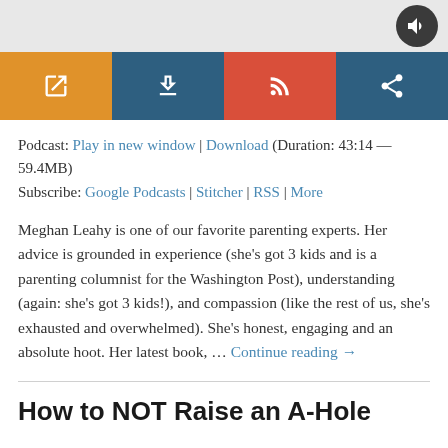[Figure (screenshot): Top gray bar with speaker/audio button icon (dark circle with speaker symbol) on the right side]
[Figure (infographic): Row of four icon buttons: orange external link icon, dark blue download arrow icon, red RSS/subscribe icon, dark blue share icon]
Podcast: Play in new window | Download (Duration: 43:14 — 59.4MB)
Subscribe: Google Podcasts | Stitcher | RSS | More
Meghan Leahy is one of our favorite parenting experts. Her advice is grounded in experience (she's got 3 kids and is a parenting columnist for the Washington Post), understanding (again: she's got 3 kids!), and compassion (like the rest of us, she's exhausted and overwhelmed). She's honest, engaging and an absolute hoot. Her latest book, … Continue reading →
How to NOT Raise an A-Hole